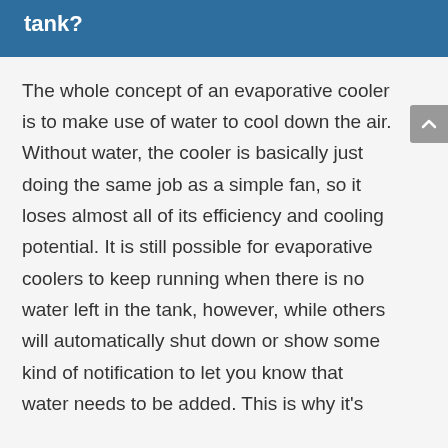tank?
The whole concept of an evaporative cooler is to make use of water to cool down the air. Without water, the cooler is basically just doing the same job as a simple fan, so it loses almost all of its efficiency and cooling potential. It is still possible for evaporative coolers to keep running when there is no water left in the tank, however, while others will automatically shut down or show some kind of notification to let you know that water needs to be added. This is why it's